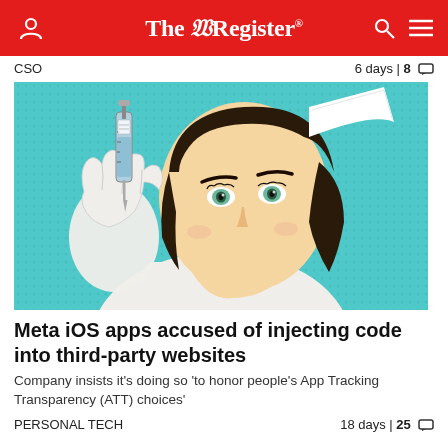The Register
CSO    6 days | 8
[Figure (illustration): Pop-art style illustration of a nurse in a white uniform holding up a syringe, looking at it with a knowing expression. Teal/turquoise background with comic book dot pattern.]
Meta iOS apps accused of injecting code into third-party websites
Company insists it's doing so 'to honor people's App Tracking Transparency (ATT) choices'
PERSONAL TECH    18 days | 25